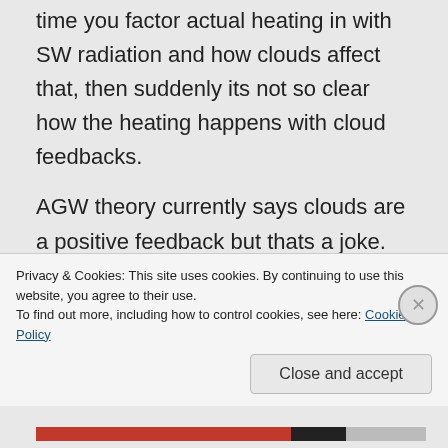time you factor actual heating in with SW radiation and how clouds affect that, then suddenly its not so clear how the heating happens with cloud feedbacks.
AGW theory currently says clouds are a positive feedback but thats a joke. The simplest of thought experiments where the earth is surrounded by clouds leads to cooling and hence negative
Privacy & Cookies: This site uses cookies. By continuing to use this website, you agree to their use.
To find out more, including how to control cookies, see here: Cookie Policy